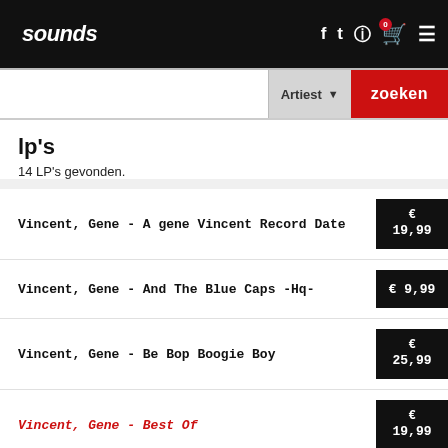sounds
lp's
14 LP's gevonden.
Vincent, Gene - A gene Vincent Record Date
Vincent, Gene - And The Blue Caps -Hq-
Vincent, Gene - Be Bop Boogie Boy
Vincent, Gene - Best Of
Vincent, Gene - Crazy Beat Of Gene Vincent
Vincent, Gene - Gene Vincent & The Blue Caps
Vincent, Gene - Gene Vincent Rock And The Bl...